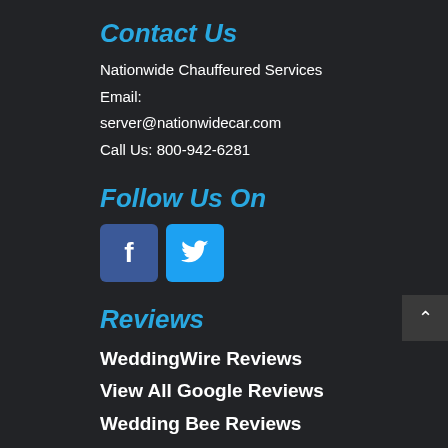Contact Us
Nationwide Chauffeured Services
Email:
server@nationwidecar.com
Call Us: 800-942-6281
Follow Us On
[Figure (infographic): Facebook and Twitter social media icon buttons]
Reviews
WeddingWire Reviews
View All Google Reviews
Wedding Bee Reviews
Hours